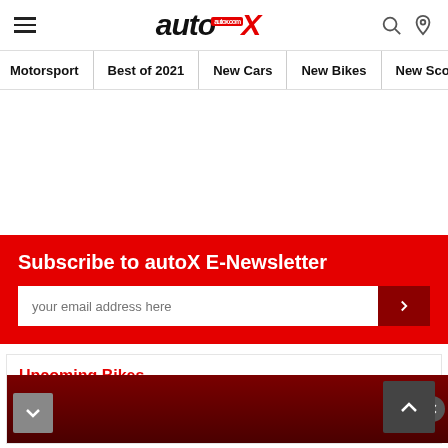autoX - Motorsport | Best of 2021 | New Cars | New Bikes | New Scooters
[Figure (screenshot): autoX website navigation bar with hamburger menu, autoX logo, search and location icons, and navigation links: Motorsport, Best of 2021, New Cars, New Bikes, New Scooters]
[Figure (screenshot): White advertisement space area]
Subscribe to autoX E-Newsletter
your email address here
Upcoming Bikes
Yamaha RX 100